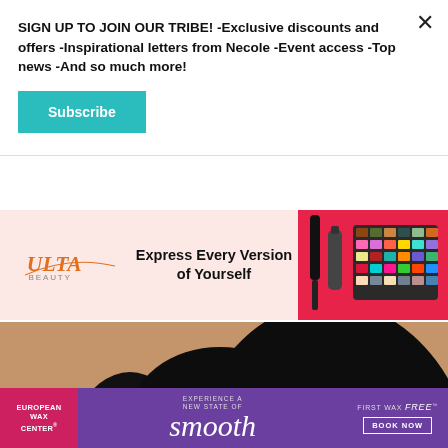SIGN UP TO JOIN OUR TRIBE! -Exclusive discounts and offers -Inspirational letters from Necole -Event access -Top news -And so much more!
Subscribe
[Figure (advertisement): Ulta Beauty advertisement: pink background with Ulta logo on left, text 'Express Every Version of Yourself' in center, beauty products (mascara, eyeshadow palette) on right with red/pink background]
[Figure (photo): Portrait photo of a smiling Black woman with large natural curly hair and hoop earrings, wearing a black top, photographed against a tan/brown background, laughing with head tilted back]
[Figure (advertisement): European Wax Center advertisement: pink/red left panel with 'EUROPEAN WAX CENTER' text, purple background with 'EXPERIENCE A NEW STATE OF smooth' text in center, right side with 'FIRST WAX free BOOK NOW' call to action]